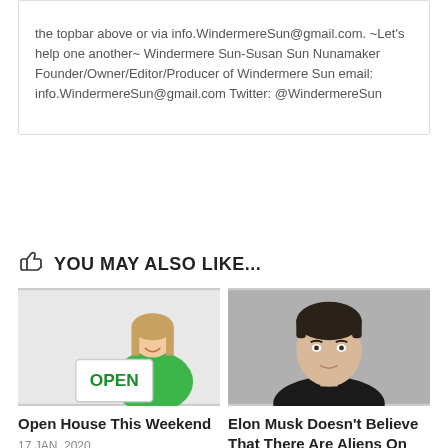the topbar above or via info.WindermereSun@gmail.com. ~Let's help one another~ Windermere Sun-Susan Sun Nunamaker Founder/Owner/Editor/Producer of Windermere Sun email: info.WindermereSun@gmail.com Twitter: @WindermereSun
YOU MAY ALSO LIKE...
[Figure (photo): Woman in green dress holding an OPEN sign, smiling]
Open House This Weekend
17 JAN, 2020
[Figure (photo): Portrait of Elon Musk, dark hair, slight smile, dark jacket]
Elon Musk Doesn't Believe That There Are Aliens On Planet Earth Yet